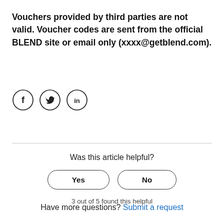Vouchers provided by third parties are not valid. Voucher codes are sent from the official BLEND site or email only (xxxx@getblend.com).
[Figure (illustration): Three social media icon circles: Facebook (f), Twitter (bird), LinkedIn (in)]
Was this article helpful?
Yes
No
3 out of 5 found this helpful
Have more questions? Submit a request